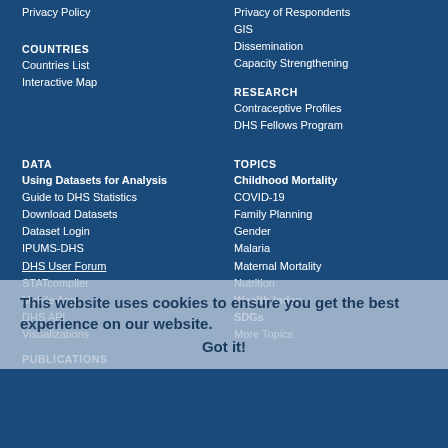Privacy Policy
COUNTRIES
Countries List
Interactive Map
Privacy of Respondents
GIS
Dissemination
Capacity Strengthening
RESEARCH
Contraceptive Profiles
DHS Fellows Program
DATA
Using Datasets for Analysis
Guide to DHS Statistics
Download Datasets
Dataset Login
IPUMS-DHS
DHS User Forum
STATcompiler
Mobile App
DHS API
Visualizations
TOPICS
Childhood Mortality
COVID-19
Family Planning
Gender
Malaria
Maternal Mortality
Nutrition
Wealth Index
SDGs
More Topics
PUBLICATIONS
This website uses cookies to ensure you get the best experience on our website.
Got it!